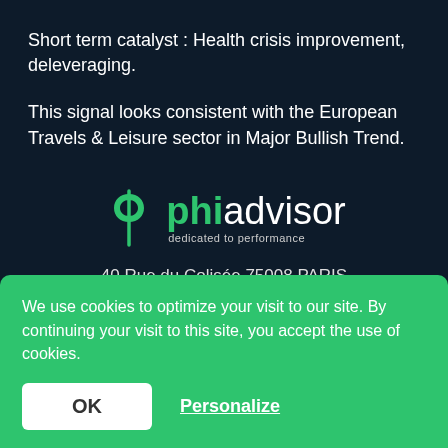Short term catalyst : Health crisis improvement, deleveraging.
This signal looks consistent with the European Travels & Leisure sector in Major Bullish Trend.
[Figure (logo): Phiadvisor logo with green phi symbol and text 'phiadvisor dedicated to performance']
40 Rue du Colisée 75008 PARIS
We use cookies to optimize your visit to our site. By continuing your visit to this site, you accept the use of cookies.
OK
Personalize